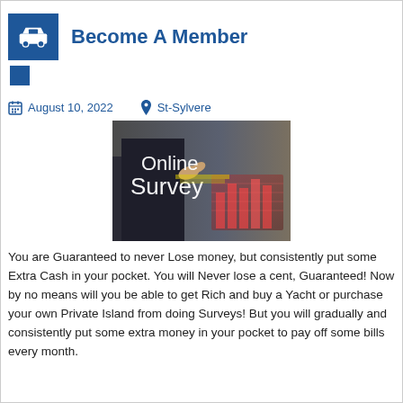Become A Member
August 10, 2022    St-Sylvere
[Figure (photo): Online Survey image showing a person in a suit pointing at a digital screen with 'Online Survey' text overlay and a bar chart graphic]
You are Guaranteed to never Lose money, but consistently put some Extra Cash in your pocket. You will Never lose a cent, Guaranteed! Now by no means will you be able to get Rich and buy a Yacht or purchase your own Private Island from doing Surveys! But you will gradually and consistently put some extra money in your pocket to pay off some bills every month.